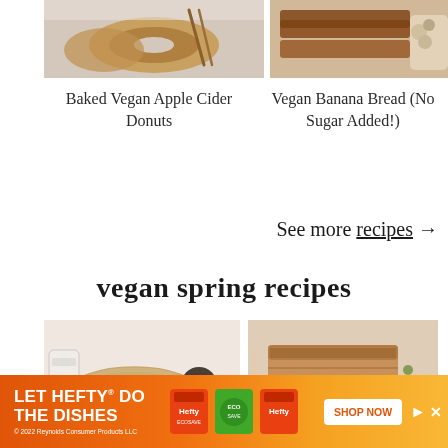[Figure (photo): Baked vegan apple cider donuts on a white surface with cinnamon sticks]
[Figure (photo): Sliced vegan banana bread with seeds/nuts on top, with a white bowl of seeds]
Baked Vegan Apple Cider Donuts
Vegan Banana Bread (No Sugar Added!)
See more recipes →
vegan spring recipes
[Figure (photo): Bowl of pasta or noodles with sauce, surrounded by small cups, bottles, kitchen setting]
[Figure (photo): Sliced vegan baked item, possibly a loaf or cake with toppings]
[Figure (other): Advertisement banner: LET HEFTY DO THE DISHES - Reynolds Consumer Products LLC 2022 - SHOP NOW button with Hefty product images]